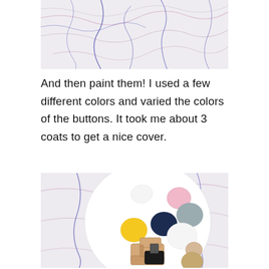[Figure (photo): Close-up of marble-like surface with blue and pink veining pattern, partially cropped at top]
And then paint them! I used a few different colors and varied the colors of the buttons. It took me about 3 coats to get a nice cover.
[Figure (photo): White round plate on marble surface with paint blobs in white, pink, grey, navy, yellow, and tan/beige colors, along with a small cardboard sewing machine cutout and black sponge brush]